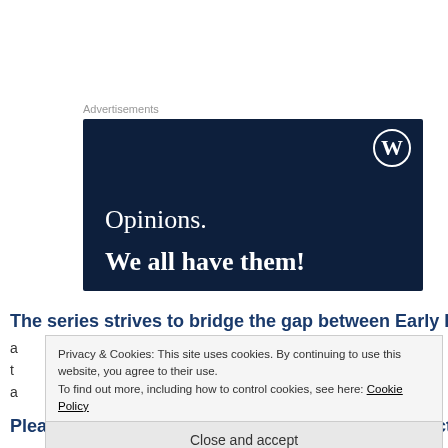Advertisements
[Figure (other): WordPress.com advertisement banner with dark navy background showing WordPress logo (W in circle), text 'Opinions.' and bold text 'We all have them!']
The series strives to bridge the gap between Early Readers
Privacy & Cookies: This site uses cookies. By continuing to use this website, you agree to their use. To find out more, including how to control cookies, see here: Cookie Policy
Close and accept
Please bear this in mind when reading the introductory